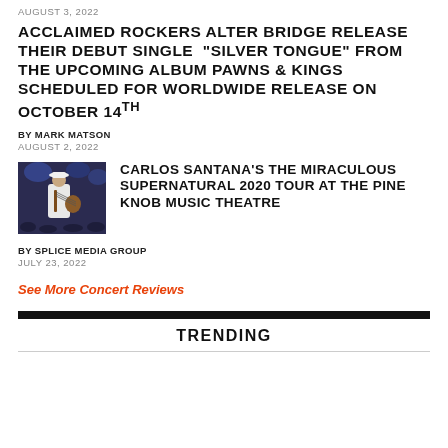AUGUST 3, 2022
ACCLAIMED ROCKERS ALTER BRIDGE RELEASE THEIR DEBUT SINGLE “SILVER TONGUE” FROM THE UPCOMING ALBUM PAWNS & KINGS SCHEDULED FOR WORLDWIDE RELEASE ON OCTOBER 14TH
BY MARK MATSON
AUGUST 2, 2022
[Figure (photo): Photo of Carlos Santana performing on stage, wearing a white hat and white outfit, playing guitar with blue stage lighting in the background]
CARLOS SANTANA’S THE MIRACULOUS SUPERNATURAL 2020 TOUR AT THE PINE KNOB MUSIC THEATRE
BY SPLICE MEDIA GROUP
JULY 23, 2022
See More Concert Reviews
TRENDING